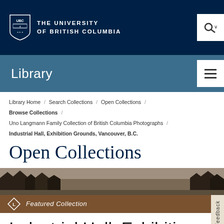THE UNIVERSITY OF BRITISH COLUMBIA
Library
Library Home / Search Collections / Open Collections / Browse Collections / Uno Langmann Family Collection of British Columbia Photographs /
Industrial Hall, Exhibition Grounds, Vancouver, B.C.
Open Collections
Featured Collection
Industrial Hall, Exhibition Grounds, Vancouver, B.C.